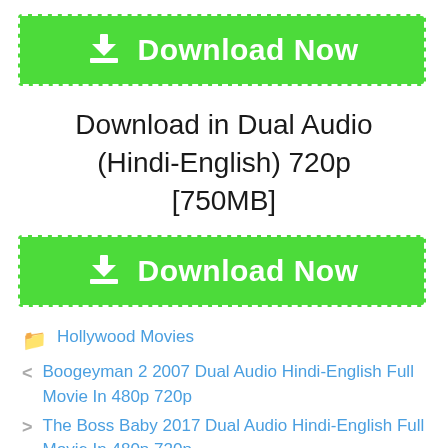[Figure (other): Green Download Now button with dashed white border and download icon]
Download in Dual Audio (Hindi-English) 720p [750MB]
[Figure (other): Green Download Now button with dashed white border and download icon]
Hollywood Movies
< Boogeyman 2 2007 Dual Audio Hindi-English Full Movie In 480p 720p
> The Boss Baby 2017 Dual Audio Hindi-English Full Movie In 480p 720p